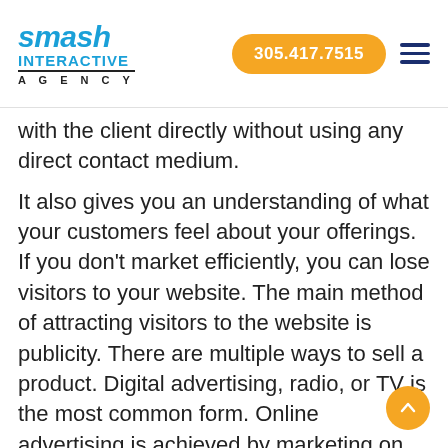smash INTERACTIVE AGENCY | 305.417.7515
with the client directly without using any direct contact medium.
It also gives you an understanding of what your customers feel about your offerings. If you don't market efficiently, you can lose visitors to your website. The main method of attracting visitors to the website is publicity. There are multiple ways to sell a product. Digital advertising, radio, or TV is the most common form. Online advertising is achieved by marketing on another platform about your goods, and it is connected back to your website. The creation of attractive content is another opportunity to drive traffic. The content comprises links relating to your service.